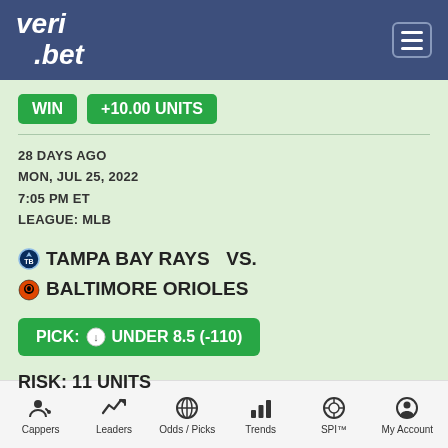veri.bet
WIN  +10.00 UNITS
28 DAYS AGO
MON, JUL 25, 2022
7:05 PM ET
LEAGUE: MLB
TAMPA BAY RAYS  VS.
BALTIMORE ORIOLES
PICK: UNDER 8.5 (-110)
RISK: 11 UNITS
Cappers  Leaders  Odds / Picks  Trends  SPI™  My Account